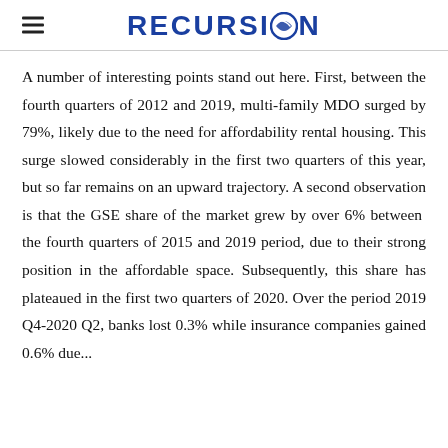RECURSION
A number of interesting points stand out here. First, between the fourth quarters of 2012 and 2019, multi-family MDO surged by 79%, likely due to the need for affordability rental housing. This surge slowed considerably in the first two quarters of this year, but so far remains on an upward trajectory. A second observation is that the GSE share of the market grew by over 6% between the fourth quarters of 2015 and 2019 period, due to their strong position in the affordable space. Subsequently, this share has plateaued in the first two quarters of 2020. Over the period 2019 Q4-2020 Q2, banks lost 0.3% while insurance companies gained 0.6% due...